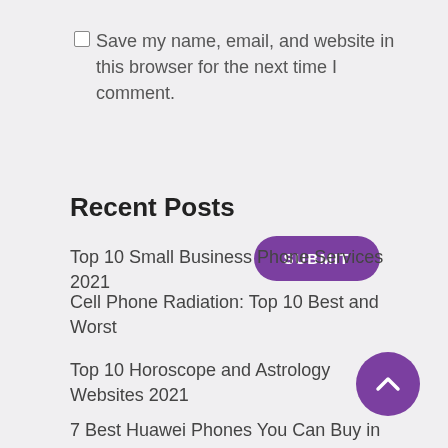Save my name, email, and website in this browser for the next time I comment.
SUBMIT
Recent Posts
Top 10 Small Business Phone Services 2021
Cell Phone Radiation: Top 10 Best and Worst
Top 10 Horoscope and Astrology Websites 2021
7 Best Huawei Phones You Can Buy in 2021
The best camera phone in 2021: which is the